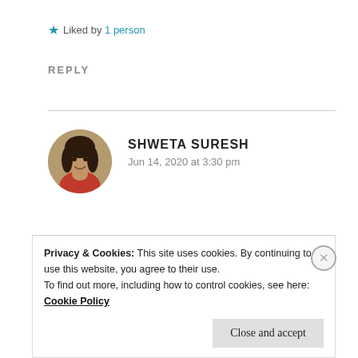★ Liked by 1 person
REPLY
[Figure (photo): Circular avatar photo of Shweta Suresh, a woman with long dark hair wearing a red top, outdoors with greenery in background]
SHWETA SURESH
Jun 14, 2020 at 3:30 pm
Congratulations!
★ Liked by 1 person
Privacy & Cookies: This site uses cookies. By continuing to use this website, you agree to their use.
To find out more, including how to control cookies, see here: Cookie Policy